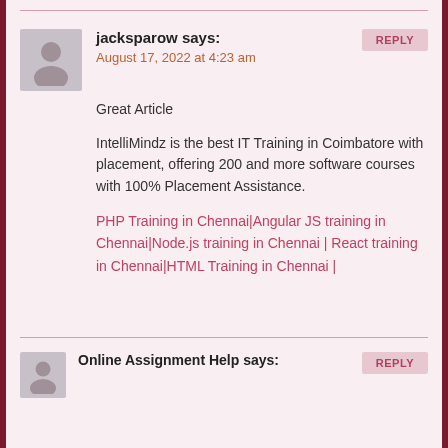REPLY
[Figure (illustration): Generic user avatar silhouette icon, gray background]
jacksparow says:
August 17, 2022 at 4:23 am
Great Article
IntelliMindz is the best IT Training in Coimbatore with placement, offering 200 and more software courses with 100% Placement Assistance.
PHP Training in Chennai|Angular JS training in Chennai|Node.js training in Chennai | React training in Chennai|HTML Training in Chennai |
REPLY
[Figure (illustration): Generic user avatar silhouette icon, gray background]
Online Assignment Help says: